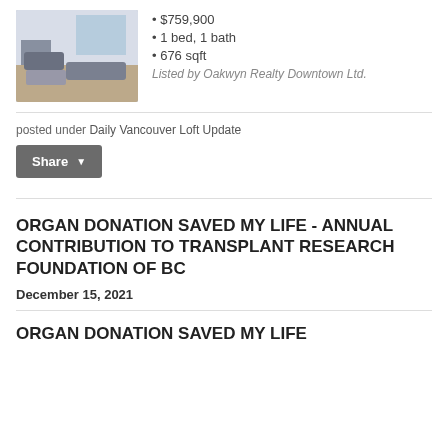[Figure (photo): Interior photo of a living room with sofa, fireplace, and large windows]
• $759,900
• 1 bed, 1 bath
• 676 sqft
Listed by Oakwyn Realty Downtown Ltd.
posted under Daily Vancouver Loft Update
Share
ORGAN DONATION SAVED MY LIFE - ANNUAL CONTRIBUTION TO TRANSPLANT RESEARCH FOUNDATION OF BC
December 15, 2021
ORGAN DONATION SAVED MY LIFE